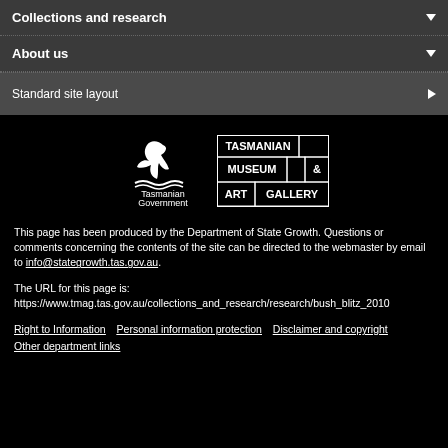Collections and research
About us
Standard site layout
[Figure (logo): Tasmanian Government logo and Tasmanian Museum & Art Gallery logo side by side on black background]
This page has been produced by the Department of State Growth. Questions or comments concerning the contents of the site can be directed to the webmaster by email to info@stategrowth.tas.gov.au.
The URL for this page is:
https://www.tmag.tas.gov.au/collections_and_research/research/bush_blitz_2010
Right to Information   Personal information protection   Disclaimer and copyright   Other department links